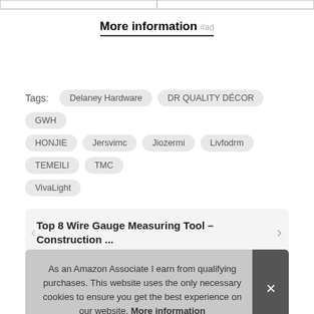More information #ad
Tags: Delaney Hardware  DR QUALITY DÉCOR  GWH  HONJIE  Jersvimc  Jiozermi  Livfodrm  TEMEILI  TMC  VivaLight
Top 8 Wire Gauge Measuring Tool – Construction ...
As an Amazon Associate I earn from qualifying purchases. This website uses the only necessary cookies to ensure you get the best experience on our website. More information